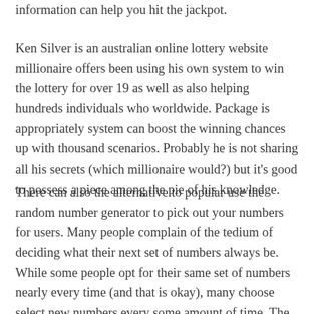information can help you hit the jackpot.
Ken Silver is an australian online lottery website millionaire offers been using his own system to win the lottery for over 19 as well as also helping hundreds individuals who worldwide. Package is appropriately system can boost the winning chances up with thousand scenarios. Probably he is not sharing all his secrets (which millionaire would?) but it's good to possess a piece among the pie of his knowledge.
There can also the alternative to popular use the random number generator to pick out your numbers for users. Many people complain of the tedium of deciding what their next set of numbers always be. While some people opt for their same set of numbers nearly every time (and that is okay), many choose select new numbers every some amount of time. The numbers chosen by the generator are completely random and are not equipped from any statistic or hot and cold number list. Considerable exactly what the title says, random. In to do is click on the generator button, wait for the results to be posted and log into view the uk lottery final results.